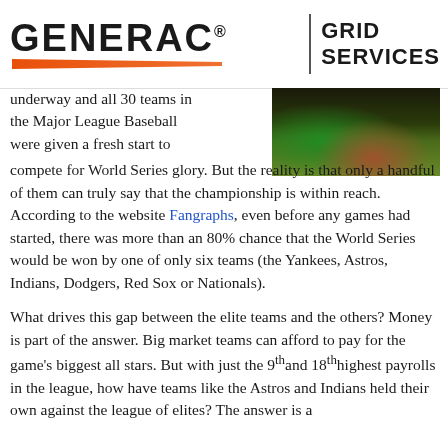[Figure (logo): Generac Grid Services logo with orange swoosh bar and vertical divider]
[Figure (photo): Baseball field photo showing dirt infield area at night]
underway and all 30 teams in the Major League Baseball were given a fresh start to compete for World Series glory. But the reality is that only a handful of them can truly say that the championship is within reach. According to the website Fangraphs, even before any games had started, there was more than an 80% chance that the World Series would be won by one of only six teams (the Yankees, Astros, Indians, Dodgers, Red Sox or Nationals).
What drives this gap between the elite teams and the others? Money is part of the answer. Big market teams can afford to pay for the game's biggest all stars. But with just the 9th and 18th highest payrolls in the league, how have teams like the Astros and Indians held their own against the league of elites? The answer is a